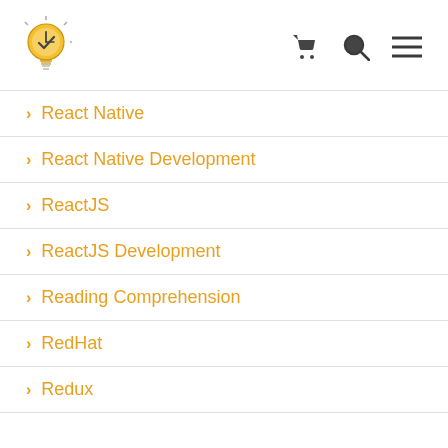Logo navigation with cart, search, and menu icons
React Native
React Native Development
ReactJS
ReactJS Development
Reading Comprehension
RedHat
Redux